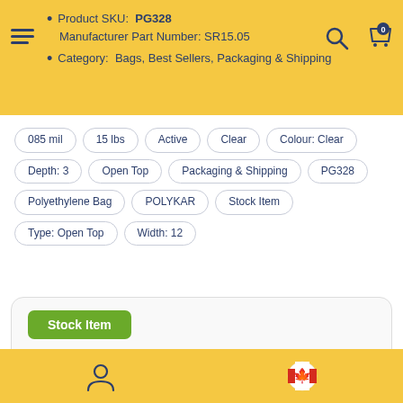Product SKU: PG328
Manufacturer Part Number: SR15.05
Category: Bags, Best Sellers, Packaging & Shipping
085 mil
15 lbs
Active
Clear
Colour: Clear
Depth: 3
Open Top
Packaging & Shipping
PG328
Polyethylene Bag
POLYKAR
Stock Item
Type: Open Top
Width: 12
Stock Item
STOCK ITEM: This means item is usually in stock. If it happens to be out of stock, it wil arrive shortly and shipped with a short delay.